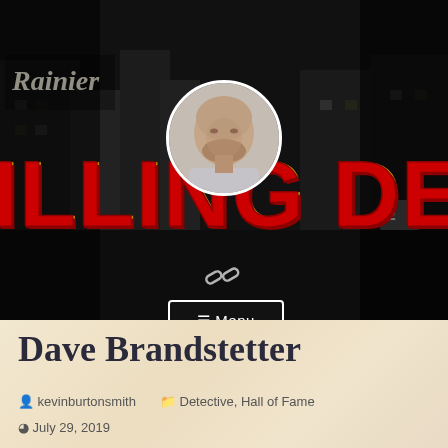[Figure (screenshot): Website header banner for Thrilling Detective blog. Dark noir-style black and white city street background with large red bold text reading 'THRILLING DETECTIVE' partially visible. A circular avatar photo of a bald man with beard is centered near top. A chain-link icon and a Menu button are visible.]
Dave Brandstetter
kevinburtonsmith   Detective, Hall of Fame
July 29, 2019